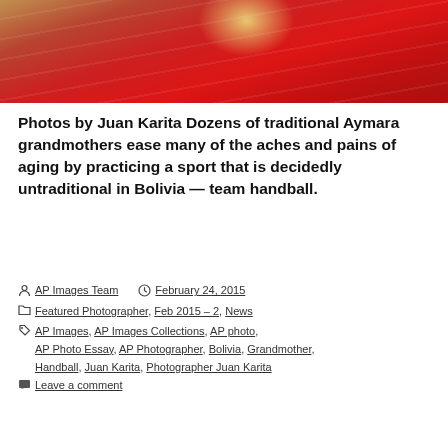[Figure (photo): Close-up photo of person wearing red and yellow traditional clothing, upper body visible against a beige/tan background]
Photos by Juan Karita Dozens of traditional Aymara grandmothers ease many of the aches and pains of aging by practicing a sport that is decidedly untraditional in Bolivia — team handball.
AP Images Team  February 24, 2015  Featured Photographer, Feb 2015 - 2, News  AP Images, AP Images Collections, AP photo, AP Photo Essay, AP Photographer, Bolivia, Grandmother, Handball, Juan Karita, Photographer Juan Karita  Leave a comment